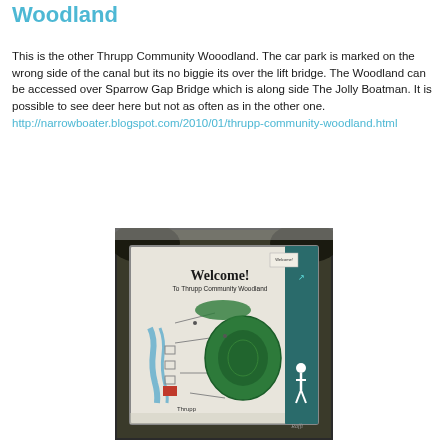Woodland
This is the other Thrupp Community Wooodland. The car park is marked on the wrong side of the canal but its no biggie its over the lift bridge. The Woodland can be accessed over Sparrow Gap Bridge which is along side The Jolly Boatman. It is possible to see deer here but not as often as in the other one.
http://narrowboater.blogspot.com/2010/01/thrupp-community-woodland.html
[Figure (photo): A welcome sign for Thrupp Community Woodland showing a map of the woodland area with paths, a canal, and green woodland marked. The sign reads 'Welcome! To Thrupp Community Woodland' and shows 'Thrupp' labeled on the map. A walking figure icon is visible on the right side.]